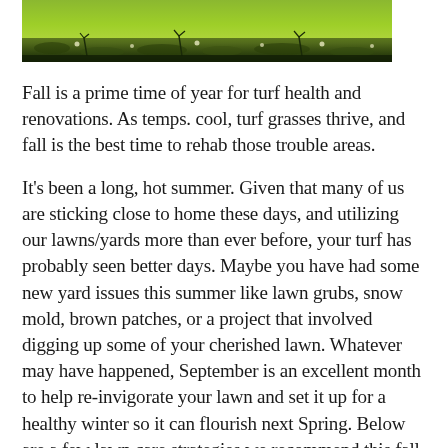[Figure (photo): Aerial or close-up view of a lush green grass lawn/turf field]
Fall is a prime time of year for turf health and renovations. As temps. cool, turf grasses thrive, and fall is the best time to rehab those trouble areas.
It's been a long, hot summer. Given that many of us are sticking close to home these days, and utilizing our lawns/yards more than ever before, your turf has probably seen better days. Maybe you have had some new yard issues this summer like lawn grubs, snow mold, brown patches, or a project that involved digging up some of your cherished lawn. Whatever may have happened, September is an excellent month to help re-invigorate your lawn and set it up for a healthy winter so it can flourish next Spring. Below are a few lawn care strategies we recommend this fall.